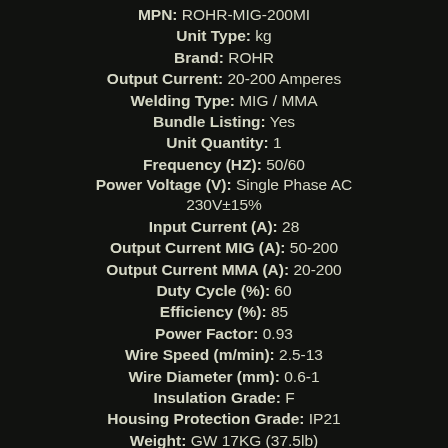MPN: ROHR-MIG-200MI
Unit Type: kg
Brand: ROHR
Output Current: 20-200 Amperes
Welding Type: MIG / MMA
Bundle Listing: Yes
Unit Quantity: 1
Frequency (HZ): 50/60
Power Voltage (V): Single Phase AC 230V±15%
Input Current (A): 28
Output Current MIG (A): 50-200
Output Current MMA (A): 20-200
Duty Cycle (%): 60
Efficiency (%): 85
Power Factor: 0.93
Wire Speed (m/min): 2.5-13
Wire Diameter (mm): 0.6-1
Insulation Grade: F
Housing Protection Grade: IP21
Weight: GW 17KG (37.5lb)
Overall Dimensions (L×W×H): 540...